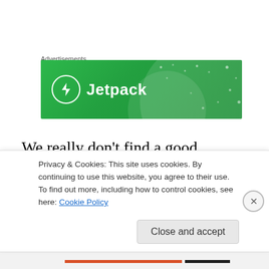Advertisements
[Figure (logo): Jetpack advertisement banner — green background with large Jetpack logo (lightning bolt in circle) and 'Jetpack' text in white]
We really don't find a good example of Gentile Yeshua-devotion in the Gospels, largely because having come to the “lost sheep of Israel,” the Rav wasn’t seeking out, nor did he direct his disciples to seek out, the Gentile
Privacy & Cookies: This site uses cookies. By continuing to use this website, you agree to their use.
To find out more, including how to control cookies, see here: Cookie Policy
Close and accept